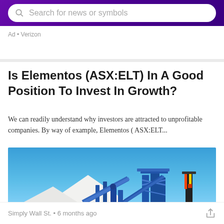Search for news or symbols
Ad • Verizon
Is Elementos (ASX:ELT) In A Good Position To Invest In Growth?
We can readily understand why investors are attracted to unprofitable companies. By way of example, Elementos ( ASX:ELT...
[Figure (photo): Industrial mining facility with blue conveyor belts, machinery, and a white mineral stockpile against a clear blue sky, with dry ground in the foreground.]
Simply Wall St. • 6 months ago